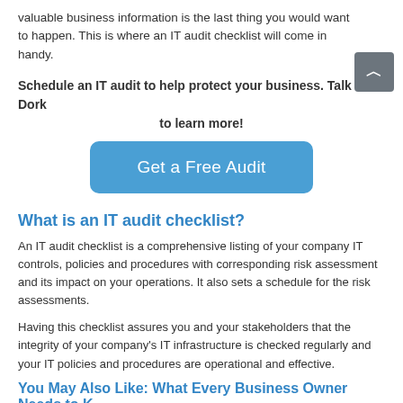valuable business information is the last thing you would want to happen. This is where an IT audit checklist will come in handy.
Schedule an IT audit to help protect your business. Talk to a Dork to learn more!
[Figure (other): Blue rounded button labeled 'Get a Free Audit']
What is an IT audit checklist?
An IT audit checklist is a comprehensive listing of your company IT controls, policies and procedures with corresponding risk assessment and its impact on your operations. It also sets a schedule for the risk assessments.
Having this checklist assures you and your stakeholders that the integrity of your company's IT infrastructure is checked regularly and your IT policies and procedures are operational and effective.
You May Also Like: What Every Business Owner Needs to K…